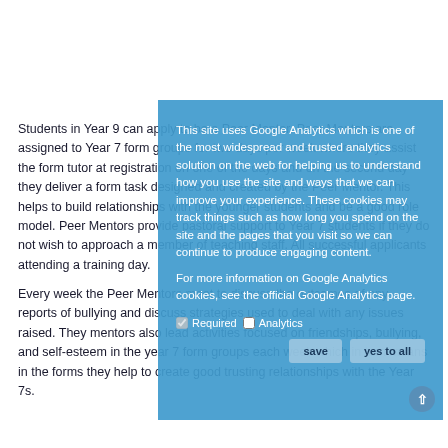Students in Year 9 can apply to be a Peer Mentor. Peer Mentors are assigned to Year 7 form groups for two days per week where they assist the form tutor at registration on one of the days and on the second day they deliver a form task designed and created by the Peer Mentor. This helps to build relationships with the younger students and be a good role model. Peer Mentors provide pastoral support to Year 7 students if they do not wish to approach a member of teaching staff. All successful applicants attending a training day.
Every week the Peer Mentors meet to discuss the outcomes of any reports of bullying and discuss strategies used to deal with any issues raised. They mentors also lead activities focused on friendships, bullying, and self-esteem in the year 7 form groups each week which in turn means in the forms they help to create good trusting relationships with the Year 7s.
[Figure (screenshot): Cookie consent dialog overlay with blue background. Text reads: 'This site uses Google Analytics which is one of the most widespread and trusted analytics solution on the web for helping us to understand how you use the site and ways that we can improve your experience. These cookies may track things such as how long you spend on the site and the pages that you visit so we can continue to produce engaging content. For more information on Google Analytics cookies, see the official Google Analytics page.' Below is a row with a checked checkbox labeled 'Required' and an unchecked checkbox labeled 'Analytics'. Two buttons: 'save' and 'yes to all'.]